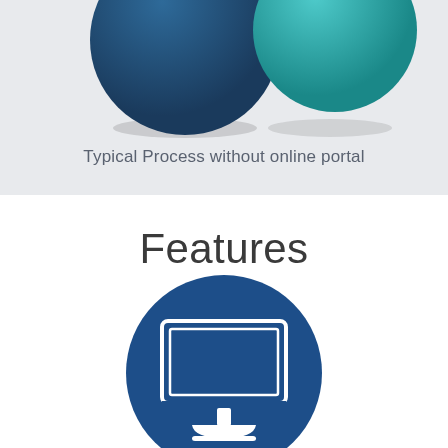[Figure (illustration): Partial view of two overlapping 3D spheres at the top of the page — a dark navy blue sphere on the left and a teal/cyan sphere on the right, partially cropped, with shadows beneath them, on a light gray background.]
Typical Process without online portal
Features
[Figure (illustration): A dark navy blue circle icon containing a white line-art illustration of a desktop computer monitor with a stand, representing an online portal or web interface.]